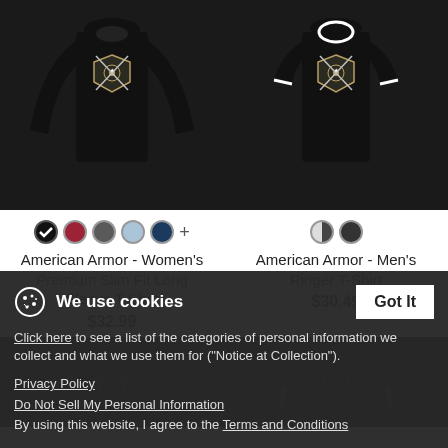[Figure (photo): Black women's long sleeve slim fit t-shirt with American Armor logo design on front]
[Figure (photo): Black men's ringer t-shirt with American Armor logo design on front]
American Armor - Women's Premium Slim Fit Long Sleeve T-Shirt
$32.99
American Armor - Men's Ringer T-Shirt
$30.49
[Figure (photo): Partial view of black hoodie product]
[Figure (photo): Partial view of black varsity jacket product]
We use cookies
Click here to see a list of the categories of personal information we collect and what we use them for ("Notice at Collection").
Privacy Policy
Do Not Sell My Personal Information
By using this website, I agree to the Terms and Conditions